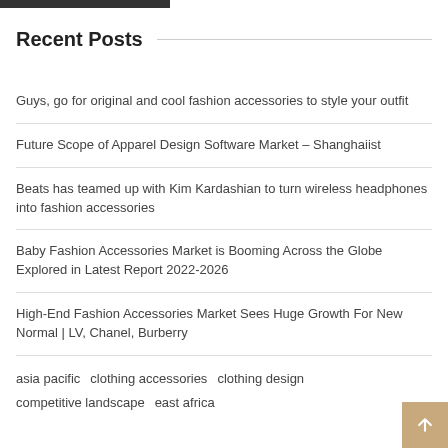Recent Posts
Guys, go for original and cool fashion accessories to style your outfit
Future Scope of Apparel Design Software Market – Shanghaiist
Beats has teamed up with Kim Kardashian to turn wireless headphones into fashion accessories
Baby Fashion Accessories Market is Booming Across the Globe Explored in Latest Report 2022-2026
High-End Fashion Accessories Market Sees Huge Growth For New Normal | LV, Chanel, Burberry
asia pacific   clothing accessories   clothing design   competitive landscape   east africa